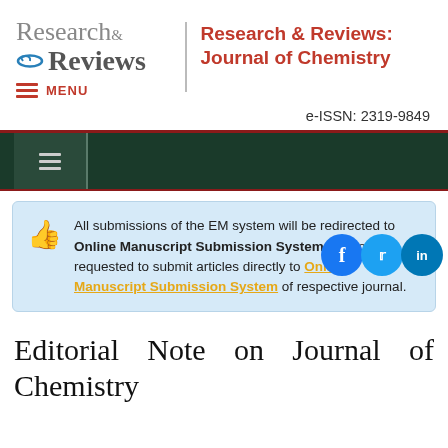Research & Reviews: Journal of Chemistry
e-ISSN: 2319-9849
All submissions of the EM system will be redirected to Online Manuscript Submission System. Authors are requested to submit articles directly to Online Manuscript Submission System of respective journal.
Editorial Note on Journal of Chemistry